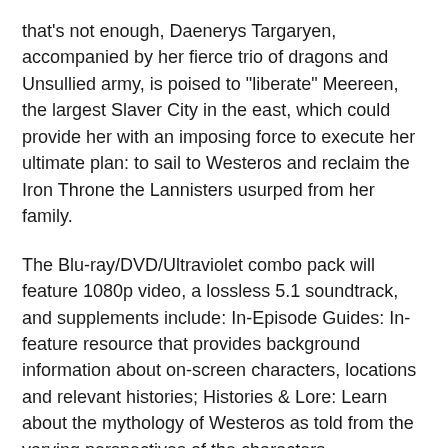that's not enough, Daenerys Targaryen, accompanied by her fierce trio of dragons and Unsullied army, is poised to "liberate" Meereen, the largest Slaver City in the east, which could provide her with an imposing force to execute her ultimate plan: to sail to Westeros and reclaim the Iron Throne the Lannisters usurped from her family.
The Blu-ray/DVD/Ultraviolet combo pack will feature 1080p video, a lossless 5.1 soundtrack, and supplements include: In-Episode Guides: In-feature resource that provides background information about on-screen characters, locations and relevant histories; Histories & Lore: Learn about the mythology of Westeros as told from the varying perspectives of the characters themselves; Audio Commentaries: